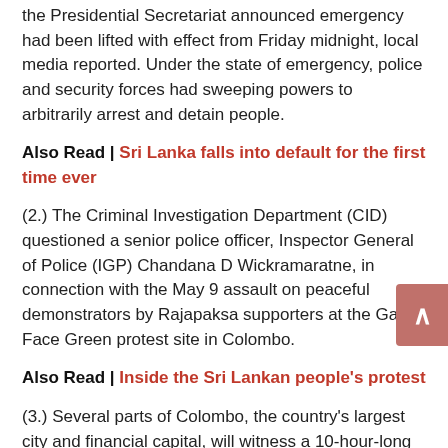the Presidential Secretariat announced emergency had been lifted with effect from Friday midnight, local media reported. Under the state of emergency, police and security forces had sweeping powers to arbitrarily arrest and detain people.
Also Read | Sri Lanka falls into default for the first time ever
(2.) The Criminal Investigation Department (CID) questioned a senior police officer, Inspector General of Police (IGP) Chandana D Wickramaratne, in connection with the May 9 assault on peaceful demonstrators by Rajapaksa supporters at the Galle Face Green protest site in Colombo.
Also Read | Inside the Sri Lankan people's protest
(3.) Several parts of Colombo, the country's largest city and financial capital, will witness a 10-hour-long water supply cut. The water supply cut will begin at 10pm and continue till 8am on Sunday.
Also Read | The road map of protest drama in Sri Lanka